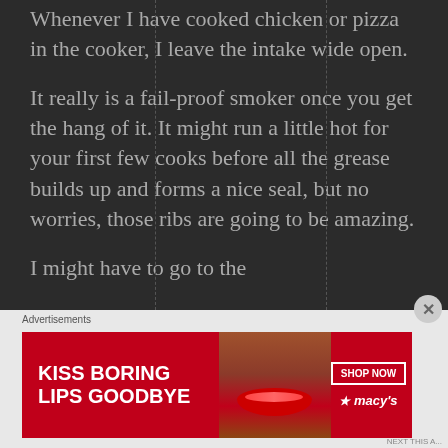Whenever I have cooked chicken or pizza in the cooker, I leave the intake wide open.
It really is a fail-proof smoker once you get the hang of it. It might run a little hot for your first few cooks before all the grease builds up and forms a nice seal, but no worries, those ribs are going to be amazing.
I might have to go to the
[Figure (other): Advertisement banner for Macy's lipstick/beauty product showing a woman's face with red lips and text 'KISS BORING LIPS GOODBYE' with 'SHOP NOW' button and Macy's star logo]
Advertisements